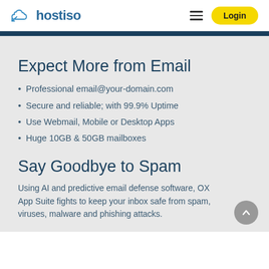hostiso — Login
Expect More from Email
Professional email@your-domain.com
Secure and reliable; with 99.9% Uptime
Use Webmail, Mobile or Desktop Apps
Huge 10GB & 50GB mailboxes
Say Goodbye to Spam
Using AI and predictive email defense software, OX App Suite fights to keep your inbox safe from spam, viruses, malware and phishing attacks.